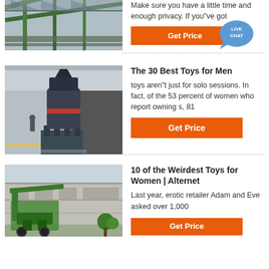[Figure (photo): Partial view of industrial facility with green steel beams and conveyor structures]
Make sure you have a little time and enough privacy. If you"ve got
[Figure (other): Orange Get Price button with Live Chat speech bubble icon]
[Figure (photo): Industrial vertical mill machine inside a factory building]
The 30 Best Toys for Men
toys aren"t just for solo sessions. In fact, of the 53 percent of women who report owning s, 81
[Figure (other): Orange Get Price button]
[Figure (photo): Green industrial machinery outside a large factory building]
10 of the Weirdest Toys for Women | Alternet
Last year, erotic retailer Adam and Eve asked over 1,000
[Figure (other): Partial orange Get Price button at bottom]